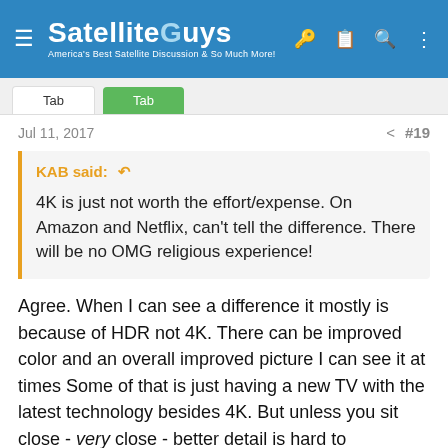SatelliteGuys — America's Best Satellite Discussion & So Much More!
Jul 11, 2017   #19
KAB said: ↩

4K is just not worth the effort/expense. On Amazon and Netflix, can't tell the difference. There will be no OMG religious experience!
Agree. When I can see a difference it mostly is because of HDR not 4K. There can be improved color and an overall improved picture I can see it at times Some of that is just having a new TV with the latest technology besides 4K. But unless you sit close - very close - better detail is hard to impossible to see it's a fact of science particularly in actual real programming. Some of the filler stuff or clips can